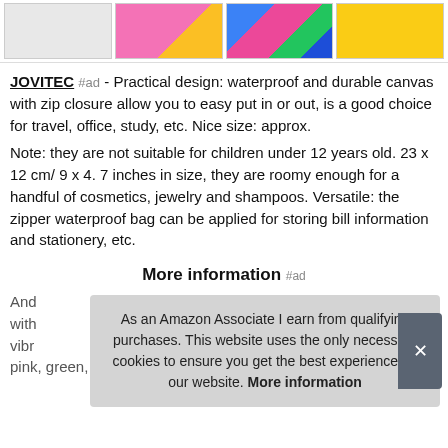[Figure (photo): Four product thumbnail images in a horizontal strip showing colorful zipper pouches/bags]
JOVITEC #ad - Practical design: waterproof and durable canvas with zip closure allow you to easy put in or out, is a good choice for travel, office, study, etc. Nice size: approx.
Note: they are not suitable for children under 12 years old. 23 x 12 cm/ 9 x 4. 7 inches in size, they are roomy enough for a handful of cosmetics, jewelry and shampoos. Versatile: the zipper waterproof bag can be applied for storing bill information and stationery, etc.
More information #ad
And with vibr pink, green, water blue, rose red, red, orange. Package
As an Amazon Associate I earn from qualifying purchases. This website uses the only necessary cookies to ensure you get the best experience on our website. More information